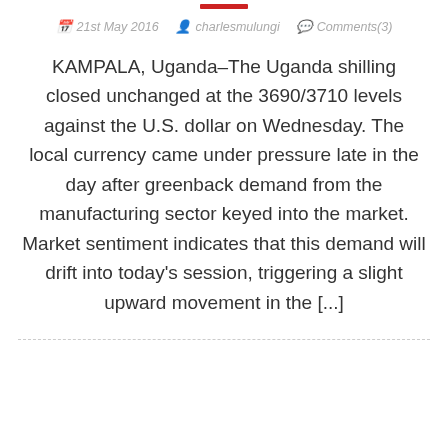21st May 2016  charlesmulungi  Comments(3)
KAMPALA, Uganda–The Uganda shilling closed unchanged at the 3690/3710 levels against the U.S. dollar on Wednesday. The local currency came under pressure late in the day after greenback demand from the manufacturing sector keyed into the market. Market sentiment indicates that this demand will drift into today's session, triggering a slight upward movement in the [...]